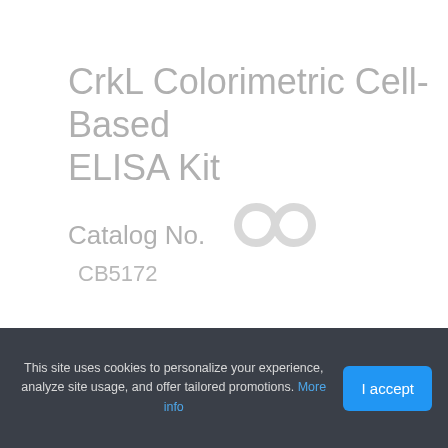CrkL Colorimetric Cell-Based ELISA Kit
Catalog No.
CB5172
Size
One 96-Well Plate
This site uses cookies to personalize your experience, analyze site usage, and offer tailored promotions. More info
I accept